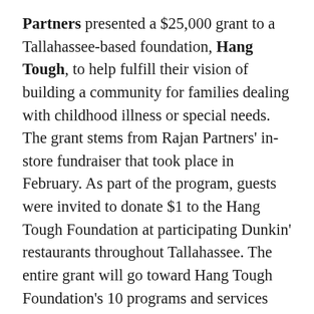Partners presented a $25,000 grant to a Tallahassee-based foundation, Hang Tough, to help fulfill their vision of building a community for families dealing with childhood illness or special needs. The grant stems from Rajan Partners' in-store fundraiser that took place in February. As part of the program, guests were invited to donate $1 to the Hang Tough Foundation at participating Dunkin' restaurants throughout Tallahassee. The entire grant will go toward Hang Tough Foundation's 10 programs and services that are provided at no cost to Hang Tough Hero families.